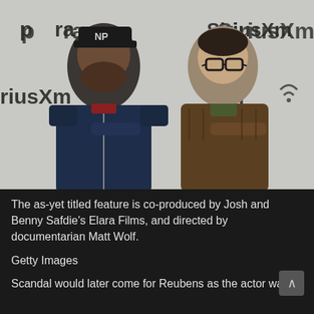[Figure (photo): Two men posing with arms crossed in front of a SiriusXM and Pandora press wall banner. The man on the left has a beard and wears a black cap and navy jacket. The man on the right wears glasses and a brown puffer jacket.]
The as-yet titled feature is co-produced by Josh and Benny Safdie's Elara Films, and directed by documentarian Matt Wolf.
Getty Images
Scandal would later come for Reubens as the actor was